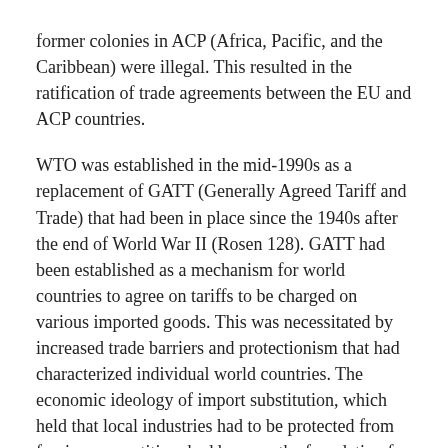former colonies in ACP (Africa, Pacific, and the Caribbean) were illegal. This resulted in the ratification of trade agreements between the EU and ACP countries.
WTO was established in the mid-1990s as a replacement of GATT (Generally Agreed Tariff and Trade) that had been in place since the 1940s after the end of World War II (Rosen 128). GATT had been established as a mechanism for world countries to agree on tariffs to be charged on various imported goods. This was necessitated by increased trade barriers and protectionism that had characterized individual world countries. The economic ideology of import substitution, which held that local industries had to be protected from foreign competition, had become the foundation for economic policies in many countries. This led to increased protectionism characterized by exorbitant tariffs on imports.